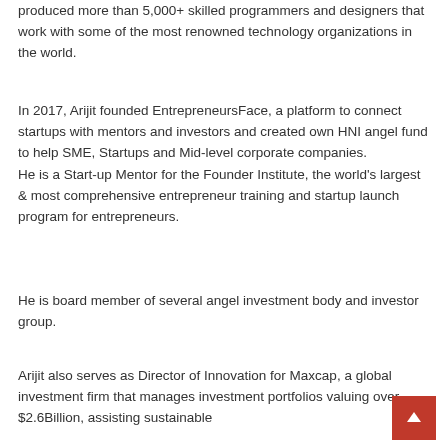produced more than 5,000+ skilled programmers and designers that work with some of the most renowned technology organizations in the world.
In 2017, Arijit founded EntrepreneursFace, a platform to connect startups with mentors and investors and created own HNI angel fund to help SME, Startups and Mid-level corporate companies. He is a Start-up Mentor for the Founder Institute, the world's largest & most comprehensive entrepreneur training and startup launch program for entrepreneurs.
He is board member of several angel investment body and investor group.
Arijit also serves as Director of Innovation for Maxcap, a global investment firm that manages investment portfolios valuing over $2.6Billion, assisting sustainable